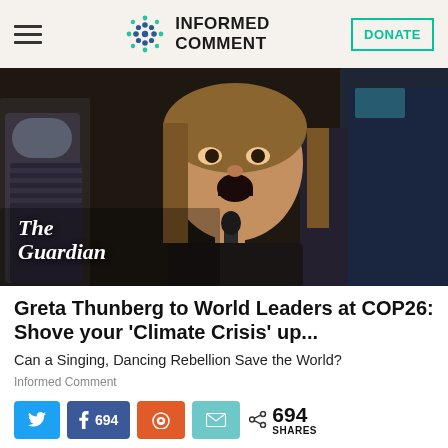INFORMED COMMENT
[Figure (photo): Young woman (Greta Thunberg) speaking into a microphone at COP26, surrounded by people, with The Guardian watermark in the bottom left corner.]
Greta Thunberg to World Leaders at COP26: Shove your 'Climate Crisis' up...
Can a Singing, Dancing Rebellion Save the World?
Informed Comment